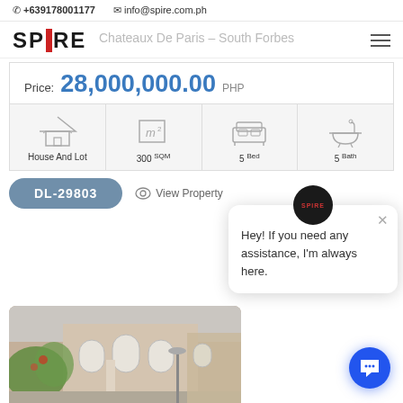+639178001177  info@spire.com.ph
[Figure (logo): SPIRE real estate logo with red vertical bar between SP and RE]
Chateaux De Paris – South Forbes
Price: 28,000,000.00 PHP
House And Lot  300 SQM  5 Bed  5 Bath
DL-29803
View Property
Hey! If you need any assistance, I'm always here.
[Figure (photo): Exterior photo of Chateaux De Paris property at South Forbes – stone facade house with arched windows and lush garden]